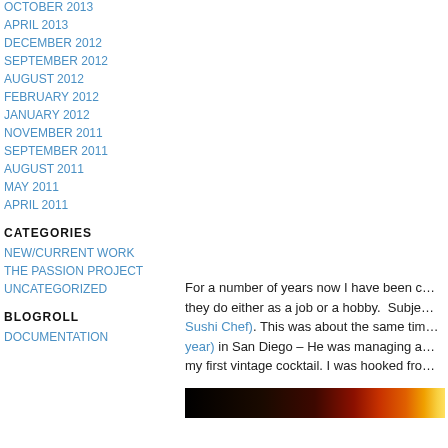OCTOBER 2013
APRIL 2013
DECEMBER 2012
SEPTEMBER 2012
AUGUST 2012
FEBRUARY 2012
JANUARY 2012
NOVEMBER 2011
SEPTEMBER 2011
AUGUST 2011
MAY 2011
APRIL 2011
CATEGORIES
NEW/CURRENT WORK
THE PASSION PROJECT
UNCATEGORIZED
BLOGROLL
DOCUMENTATION
For a number of years now I have been doing portraits of people and what they do either as a job or a hobby. Subjects have ranged from (Sushi Chef). This was about the same time (year) in San Diego – He was managing a bar and introduced me to my first vintage cocktail. I was hooked from
[Figure (other): A horizontal heat map gradient bar going from black on the left through dark brown, red, orange, to yellow-white on the right.]